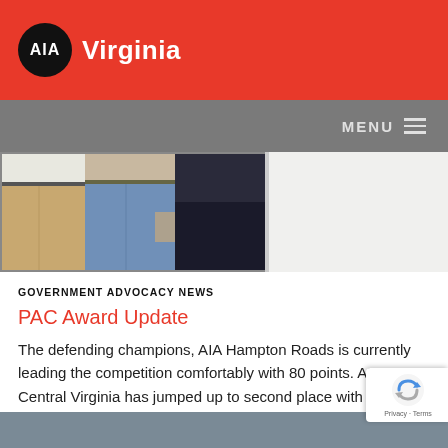AIA Virginia
[Figure (photo): Cropped photo showing three people standing together, visible from waist down — wearing khaki, jeans, and dark clothing]
GOVERNMENT ADVOCACY NEWS
PAC Award Update
The defending champions, AIA Hampton Roads is currently leading the competition comfortably with 80 points. AIA Central Virginia has jumped up to second place with 60 points.